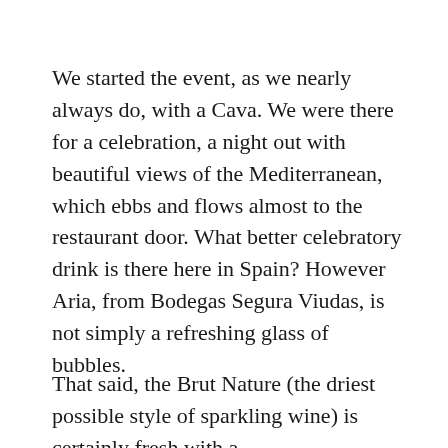We started the event, as we nearly always do, with a Cava. We were there for a celebration, a night out with beautiful views of the Mediterranean, which ebbs and flows almost to the restaurant door. What better celebratory drink is there here in Spain? However Aria, from Bodegas Segura Viudas, is not simply a refreshing glass of  bubbles.
That said, the Brut Nature (the driest possible style of sparkling wine) is certainly fresh with a